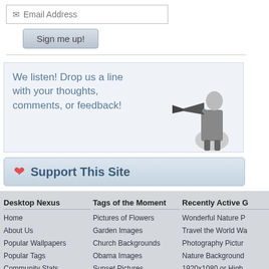[Figure (screenshot): Email address input box with envelope icon showing placeholder text 'Email Address']
[Figure (screenshot): Sign me up! button with gray-blue gradient]
We listen! Drop us a line with your thoughts, comments, or feedback!
[Figure (illustration): Black and white illustration of a man in a suit using a megaphone]
❤ Support This Site
Desktop Nexus
Home
About Us
Popular Wallpapers
Popular Tags
Community Stats
Member List
Contact Us
Tags of the Moment
Pictures of Flowers
Garden Images
Church Backgrounds
Obama Images
Sunset Pictures
Thanksgiving Wallpapers
Christmas Wallpapers
Recently Active G
Wonderful Nature P
Travel the World Wa
Photography Pictur
Nature Background
1920x1080 or High
1920x1080 Only (R
Images of Collages
Privacy Policy 🔒 | Terms of Service | Partnerships | DMCA Copyright Violation
© Desktop Nexus - All rights reserved.
Page rendered with 7 queries (and 0 cached) in 0.08 seconds from server 92.